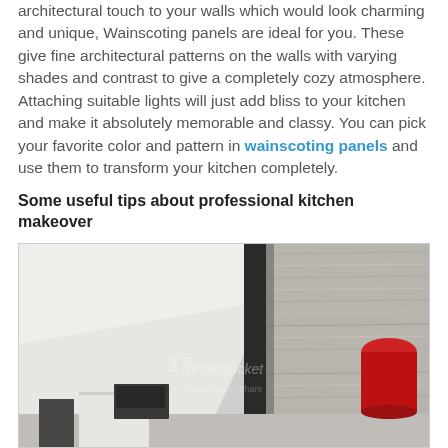architectural touch to your walls which would look charming and unique, Wainscoting panels are ideal for you. These give fine architectural patterns on the walls with varying shades and contrast to give a completely cozy atmosphere. Attaching suitable lights will just add bliss to your kitchen and make it absolutely memorable and classy. You can pick your favorite color and pattern in wainscoting panels and use them to transform your kitchen completely.
Some useful tips about professional kitchen makeover
[Figure (photo): Interior room photo showing a textured wainscoting wall panel on the right side, a dark vertical divider/column in the center, a plain white wall on the left, and a red cylindrical lamp shade on the right. Kitchen/living area items visible at the bottom including white cabinet and electronics. Photobucket watermark visible.]